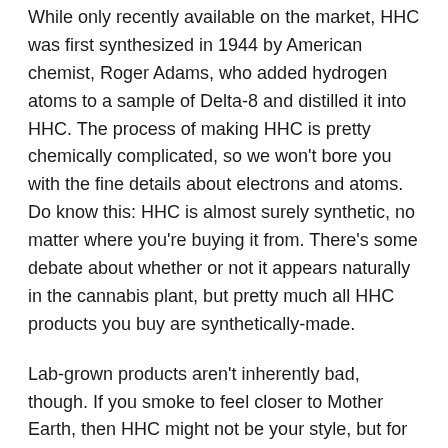While only recently available on the market, HHC was first synthesized in 1944 by American chemist, Roger Adams, who added hydrogen atoms to a sample of Delta-8 and distilled it into HHC. The process of making HHC is pretty chemically complicated, so we won't bore you with the fine details about electrons and atoms. Do know this: HHC is almost surely synthetic, no matter where you're buying it from. There's some debate about whether or not it appears naturally in the cannabis plant, but pretty much all HHC products you buy are synthetically-made.
Lab-grown products aren't inherently bad, though. If you smoke to feel closer to Mother Earth, then HHC might not be your style, but for those of us who simply enjoy a good product, it's great. Since it's lab-produced, and that production process requires a lot of precision, it's a safe product to use. There aren't a lot of cannabis by-products in it, which means it's pretty pure and low-risk.